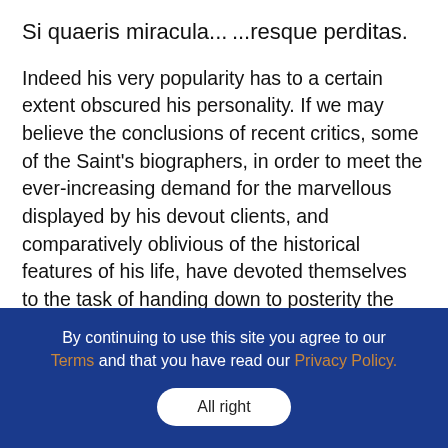Si quaeris miracula...
...resque perditas.
Indeed his very popularity has to a certain extent obscured his personality. If we may believe the conclusions of recent critics, some of the Saint's biographers, in order to meet the ever-increasing demand for the marvellous displayed by his devout clients, and comparatively oblivious of the historical features of his life, have devoted themselves to the task of handing down to posterity the posthumous miracles wrought by his intercession. We need not be surprised, therefore, to find accounts of his miracles that may seem to the modern mind trivial or incredible
By continuing to use this site you agree to our Terms and that you have read our Privacy Policy.
All right